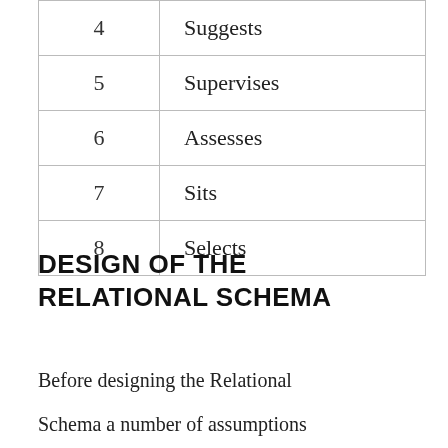| 4 | Suggests |
| 5 | Supervises |
| 6 | Assesses |
| 7 | Sits |
| 8 | Selects |
DESIGN OF THE RELATIONAL SCHEMA
Before designing the Relational
Schema a number of assumptions